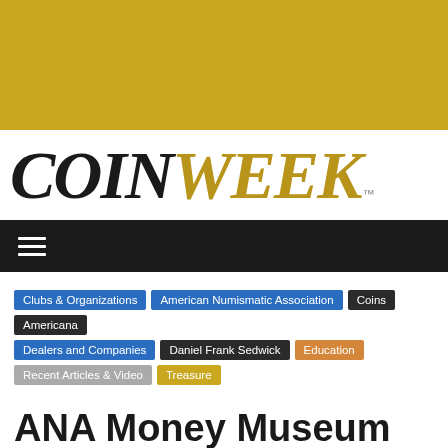[Figure (other): Gold/yellow banner at top of page]
[Figure (logo): CoinWeek logo with COIN in black serif italic and WEEK in gold serif italic, with TM superscript]
[Figure (other): Dark navigation bar with hamburger menu icon]
Clubs & Organizations
American Numismatic Association
Coins
Americana
Dealers and Companies
Daniel Frank Sedwick
Education
Recent Articles & Video
Treasure
ANA Money Museum presents new exhibit